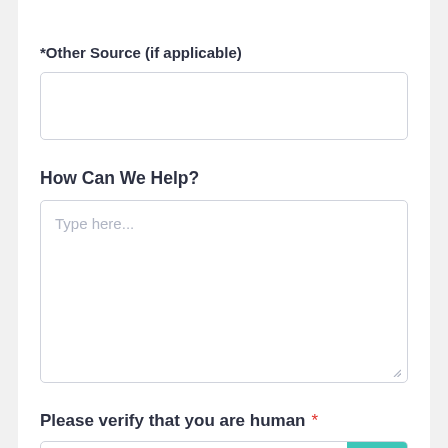*Other Source (if applicable)
(empty text input field)
How Can We Help?
Type here...
Please verify that you are human *